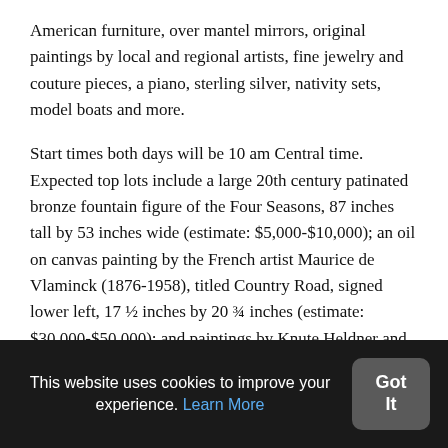American furniture, over mantel mirrors, original paintings by local and regional artists, fine jewelry and couture pieces, a piano, sterling silver, nativity sets, model boats and more.
Start times both days will be 10 am Central time. Expected top lots include a large 20th century patinated bronze fountain figure of the Four Seasons, 87 inches tall by 53 inches wide (estimate: $5,000-$10,000); an oil on canvas painting by the French artist Maurice de Vlaminck (1876-1958), titled Country Road, signed lower left, 17 ½ inches by 20 ¾ inches (estimate: $30,000-$50,000); and paintings by Knute Heldner and AJ Drysdale.
This website uses cookies to improve your experience. Learn More